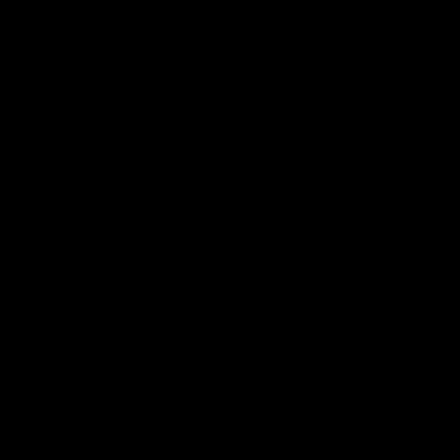Cradle Of Filth-Existence Is Futile-NB 5410-0-CD-F
Cradle Of Filth-From The Cradle To Enslave E.P.-CD-
Cradle Of Filth-Hammer Of The Witches-CD-FLAC-
Cradle Of Filth-Midian-CD-FLAC-2000-SCORN
Cradle Of Filth-Vempire Or Dark Faerytales In Phall
Craft-Terror Propaganda-CD-FLAC-2002-mwnd
Craven Idol-The Shackles of Mammon-DDR-171-LP-
Crepuscule-Neant-FR-CD-FLAC-2011-UTP
Crimson Midwinter-Random Chaos-CD-FLAC-1998-
Crosswrecker-Black Flame Divination-MCD-FLAC-2
Cruxifiction-The Coming-CD-FLAC-2011-SCORN
Cryptic Forest-Ystyr-CD-FLAC-2013-GRAVEWISH
Cryptic Tales-VII Dogmata Of Mercy-Promo-CDR-F
Cryptik Howling-Synthetic Ascension Design-Digipa
Ctanic-Kroll-666-Split-CDR-FLAC-2003-GRAVEW
Cult Of Erinyes-A Place To Call My Unknown-CD-Fl
Cult Of Erinyes-AEstivation-CD-FLAC-2019-CATA
Cult Of Erinyes-Golgltha-Digipak-CDEP-FLAC-201
Cult of Fire-Ascetic Meditation of Death-IBP-172-LP
Cult of Fire-Moksha - Nirvana-CZ-2CD-FLAC-2020-
Cultemort-La Messe Du Diable-FR-MCD-FLAC-201
Cultes Des Ghoules-Haexan-CD-FLAC-2008-DeVOi
Cultfinder-Hells Teeth-MCD-FLAC-2014-mwnd
Curse Upon a Prayer-Infedel-CD-FLAC-2020-GRAV
Curse Upon A Prayer-The Three Woes-CD-FLAC-20
(partially visible item)